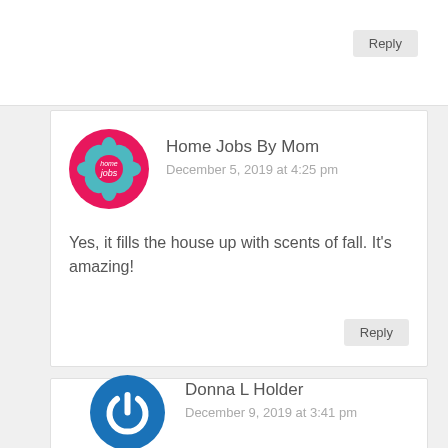Reply
[Figure (logo): Home Jobs By Mom circular logo - pink background with teal flower and 'home jobs' text]
Home Jobs By Mom
December 5, 2019 at 4:25 pm
Yes, it fills the house up with scents of fall. It's amazing!
Reply
[Figure (logo): Donna L Holder circular logo - blue background with white power button icon]
Donna L Holder
December 9, 2019 at 3:41 pm